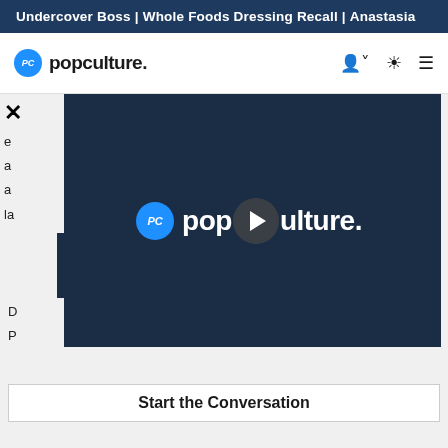Undercover Boss | Whole Foods Dressing Recall | Anastasia
[Figure (logo): PopCulture.com navigation bar with PC logo, popculture. wordmark, and nav icons for user, theme toggle, and hamburger menu]
[Figure (screenshot): PopCulture video player showing popculture. logo with play button overlay on dark blue background]
e
a
a
la
D
P
Start the Conversation